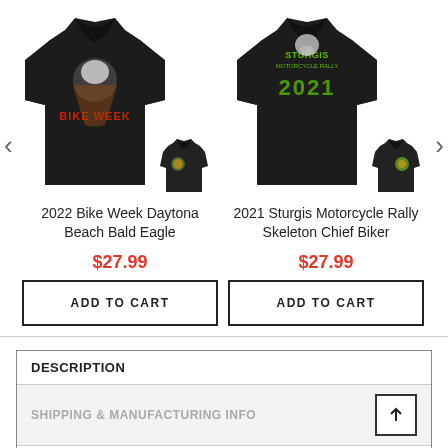[Figure (photo): Black t-shirt with Bike Week eagle graphic (front) and small back view thumbnail - 2022 Bike Week Daytona Beach Bald Eagle product]
2022 Bike Week Daytona Beach Bald Eagle
$27.99
ADD TO CART
[Figure (photo): Black t-shirt with Sturgis 2021 graphic (front) and small back view thumbnail - 2021 Sturgis Motorcycle Rally Skeleton Chief Biker product]
2021 Sturgis Motorcycle Rally Skeleton Chief Biker
$27.99
ADD TO CART
DESCRIPTION
SHIPPING & MANUFACTURING INFO
2022 Bike Week Daytona Beach